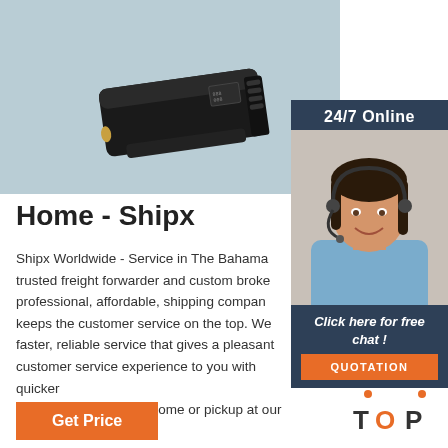[Figure (photo): Black electronic device (compact box-shaped gadget) on a light blue/grey background]
[Figure (photo): 24/7 Online panel showing a smiling female customer service agent wearing a headset, with dark blue background, 'Click here for free chat!' text, and an orange QUOTATION button]
Home - Shipx
Shipx Worldwide - Service in The Bahamas. trusted freight forwarder and custom broker. professional, affordable, shipping company that keeps the customer service on the top. We offer faster, reliable service that gives a pleasant customer service experience to you with quicker delivery to your office, home or pickup at our locations.
[Figure (illustration): TOP button graphic with orange dots forming an upward arrow above the word TOP with orange dot in the O]
Get Price